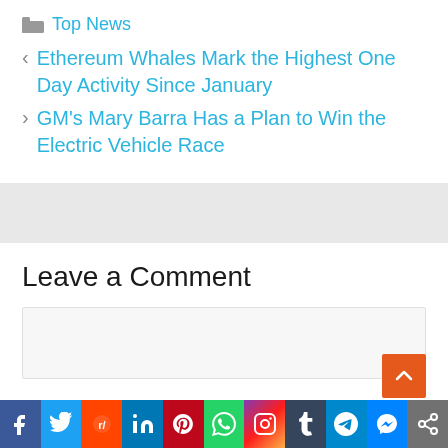Top News
Ethereum Whales Mark the Highest One Day Activity Since January
GM's Mary Barra Has a Plan to Win the Electric Vehicle Race
Leave a Comment
[Figure (other): Social media sharing bar with icons for Facebook, Twitter, Reddit, LinkedIn, Pinterest, WhatsApp, Instagram, Tumblr, Telegram, Messenger, and Share]